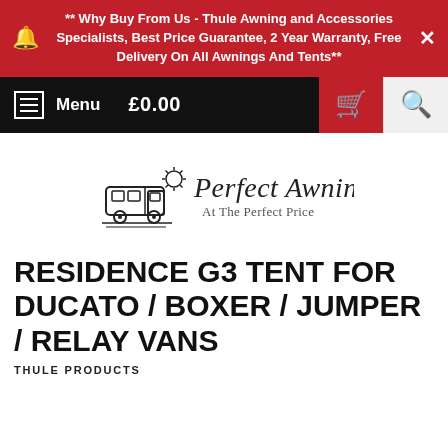** Why Buy From Us - Thule Awning and Accessories Specialists, Best Price Guarantee, 2 Year Warranty, Free Delivery On All Awnings And Tents**
Menu £0.00
[Figure (logo): Perfect Awnings logo with camper van illustration and tagline 'At The Perfect Price']
RESIDENCE G3 TENT FOR DUCATO / BOXER / JUMPER / RELAY VANS
THULE PRODUCTS